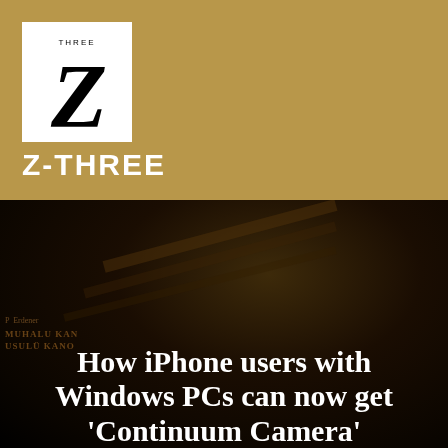[Figure (logo): Z-THREE brand logo: white box with large italic Z letterform in black, small 'THREE' text above]
Z-THREE
[Figure (photo): Dark background photo of stacked books with golden/brown tones, very dim lighting]
How iPhone users with Windows PCs can now get 'Continuum Camera'